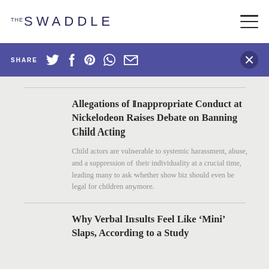THE SWADDLE
SHARE
Allegations of Inappropriate Conduct at Nickelodeon Raises Debate on Banning Child Acting
Child actors are vulnerable to systemic harassment, abuse, and a suppression of their individuality at a crucial time, leading many to ask whether show biz should even be legal for children anymore.
Why Verbal Insults Feel Like ‘Mini’ Slaps, According to a Study